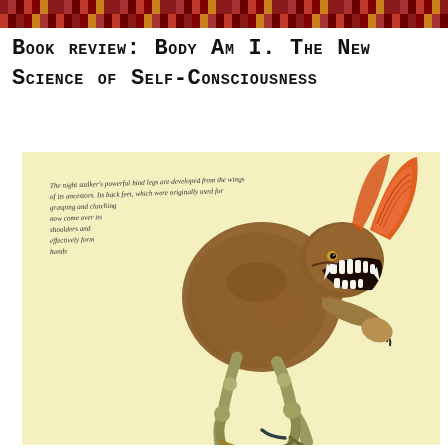[decorative header image — patterned textile/mosaic]
Book review: Body Am I. The New Science of Self-Consciousness
[Figure (illustration): Fantastical creature illustration: a rabbit-like beast with large orange ribbed ears, fur-covered body, long bony ostrich-like legs with clawed feet, sharp fanged mouth open wide, and short arms with clawed hands. On a light yellow background. Handwritten annotation text reads: 'The night stalker's powerful hind legs are developed from the wings of its ancestors. Its back feet, which were originally used for grasping and clutching now come over its shoulders and effectively form hands.']